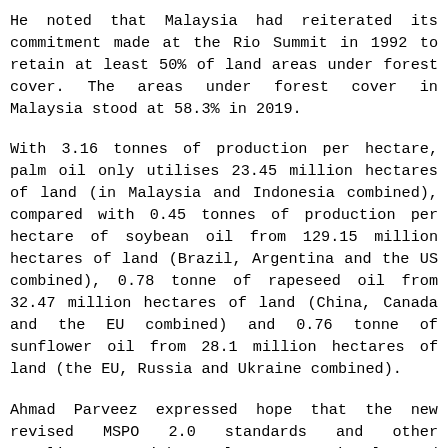He noted that Malaysia had reiterated its commitment made at the Rio Summit in 1992 to retain at least 50% of land areas under forest cover. The areas under forest cover in Malaysia stood at 58.3% in 2019.
With 3.16 tonnes of production per hectare, palm oil only utilises 23.45 million hectares of land (in Malaysia and Indonesia combined), compared with 0.45 tonnes of production per hectare of soybean oil from 129.15 million hectares of land (Brazil, Argentina and the US combined), 0.78 tonne of rapeseed oil from 32.47 million hectares of land (China, Canada and the EU combined) and 0.76 tonne of sunflower oil from 28.1 million hectares of land (the EU, Russia and Ukraine combined).
Ahmad Parveez expressed hope that the new revised MSPO 2.0 standards and other compliances with relevant national and international laws with regard to sustainability and other standards should be able to...